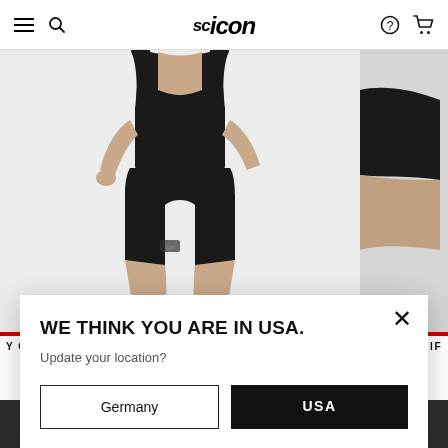SC ICON navigation bar with hamburger menu, search, logo, help, and cart icons
[Figure (photo): Man wearing black cycling bib shorts, torso and lower body visible from back/side angle against light gray background. Partial second product image on right side.]
Y OVER CYCLING BIB SHORTS - MAN      CYCLING, IF
WE THINK YOU ARE IN USA.
Update your location?
Germany
USA